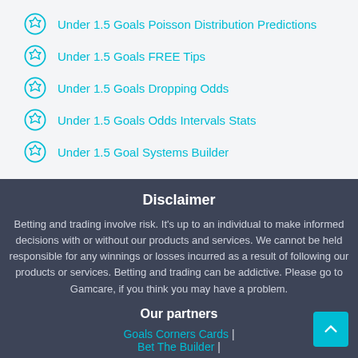Under 1.5 Goals Poisson Distribution Predictions
Under 1.5 Goals FREE Tips
Under 1.5 Goals Dropping Odds
Under 1.5 Goals Odds Intervals Stats
Under 1.5 Goal Systems Builder
Disclaimer
Betting and trading involve risk. It's up to an individual to make informed decisions with or without our products and services. We cannot be held responsible for any winnings or losses incurred as a result of following our products or services. Betting and trading can be addictive. Please go to Gamcare, if you think you may have a problem.
Our partners
Goals Corners Cards | Bet The Builder |